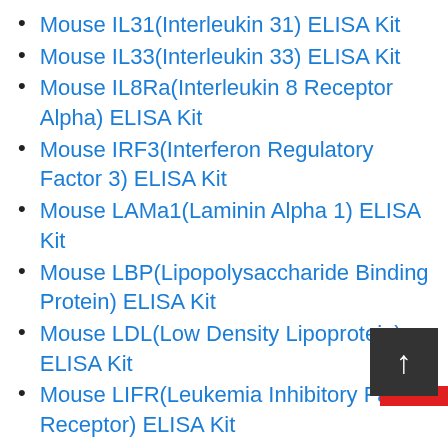Mouse IL31(Interleukin 31) ELISA Kit
Mouse IL33(Interleukin 33) ELISA Kit
Mouse IL8Ra(Interleukin 8 Receptor Alpha) ELISA Kit
Mouse IRF3(Interferon Regulatory Factor 3) ELISA Kit
Mouse LAMa1(Laminin Alpha 1) ELISA Kit
Mouse LBP(Lipopolysaccharide Binding Protein) ELISA Kit
Mouse LDL(Low Density Lipoprotein) ELISA Kit
Mouse LIFR(Leukemia Inhibitory Factor Receptor) ELISA Kit
Mouse MAP2(Microtubule Associated Protein 2) ELISA Kit
Mouse MAPt(Microtubule Associated Protein Tau) ELISA Kit
Mouse MASP1(Mannose Associated